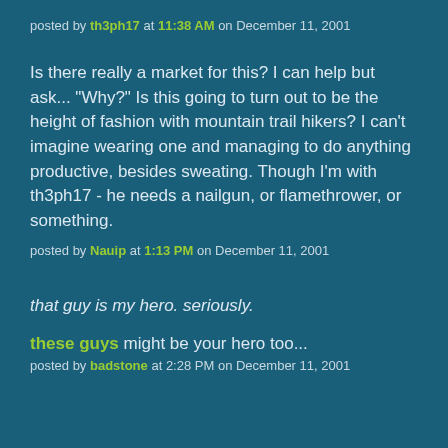posted by th3ph17 at 11:38 AM on December 11, 2001
Is there really a market for this? I can help but ask... "Why?" Is this going to turn out to be the height of fashion with mountain trail hikers? I can't imagine wearing one and managing to do anything productive, besides sweating. Though I'm with th3ph17 - he needs a nailgun, or flamethrower, or something.
posted by Nauip at 1:13 PM on December 11, 2001
that guy is my hero. seriously.
these guys might be your hero too...
posted by badstone at 2:28 PM on December 11, 2001